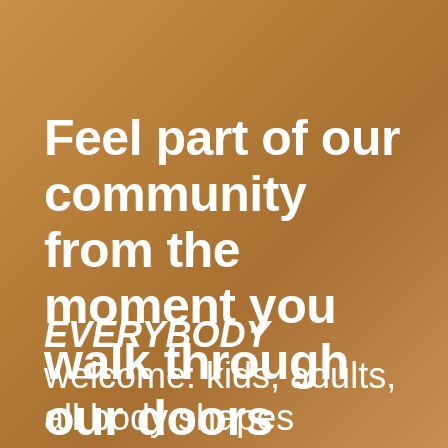[Figure (photo): Warm golden-brown background with bokeh/blurred lighting effect, creating a cozy community gym atmosphere]
Feel part of our community from the moment you walk through our doors
EVERYBODY welcome: kids, adults, all body shapes